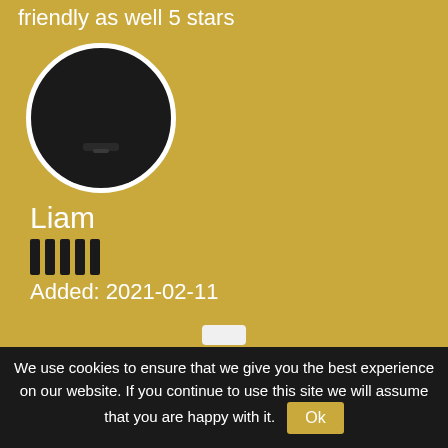friendly as well 5 stars
[Figure (illustration): Circular avatar with a silhouette of a person (headset icon) on dark background with white border]
Liam
||||| (5 bars / stars rating)
Added: 2021-02-11
Fantastic time with a lovely lady. She is absolutely stunning and offers a true GFE highly
We use cookies to ensure that we give you the best experience on our website. If you continue to use this site we will assume that you are happy with it.